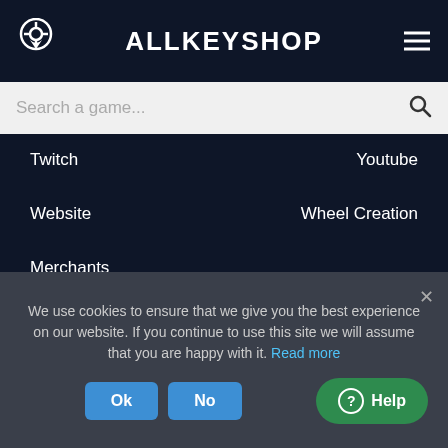ALLKEYSHOP
Search a game...
Twitch
Youtube
Website
Wheel Creation
Merchants
CATEGORIES
PC
Reward Program
Xbox
Gift Cards
We use cookies to ensure that we give you the best experience on our website. If you continue to use this site we will assume that you are happy with it. Read more